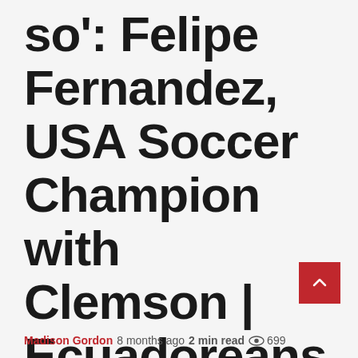so': Felipe Fernandez, USA Soccer Champion with Clemson | Ecuadoreans abroad | Sports
Madison Gordon  8 months ago  2 min read  699